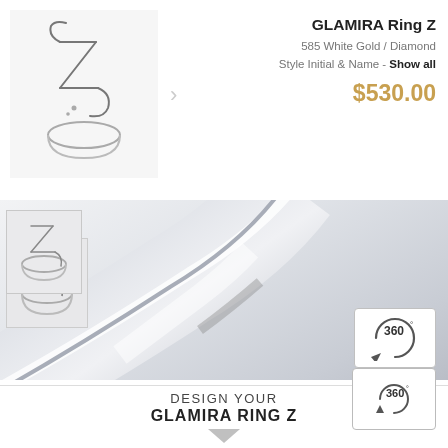[Figure (photo): Small thumbnail of GLAMIRA Ring Z in 585 White Gold with a Z-shaped letter design on a light background]
GLAMIRA Ring Z
585 White Gold / Diamond
Style Initial & Name - Show all
$530.00
[Figure (photo): Large close-up hero image of GLAMIRA Ring Z showing polished white gold band with decorative letter Z motif and GLAMIRA engraving on the inside of the band]
[Figure (photo): Small side thumbnail showing alternative view of GLAMIRA Ring Z]
[Figure (other): 360 degree view button icon with circular arrow symbol]
GLAMIRA Logo inside [?]
Yes  No
DESIGN YOUR
GLAMIRA RING Z